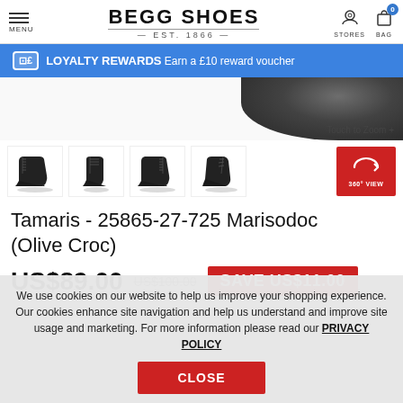BEGG SHOES EST. 1866
LOYALTY REWARDS Earn a £10 reward voucher
[Figure (photo): Product thumbnail images of black boots from multiple angles, plus a 360° view button]
Tamaris - 25865-27-725 Marisodoc (Olive Croc)
US$89.00  US$100.00  SAVE US$11.00
We use cookies on our website to help us improve your shopping experience. Our cookies enhance site navigation and help us understand and improve site usage and marketing. For more information please read our PRIVACY POLICY
CLOSE